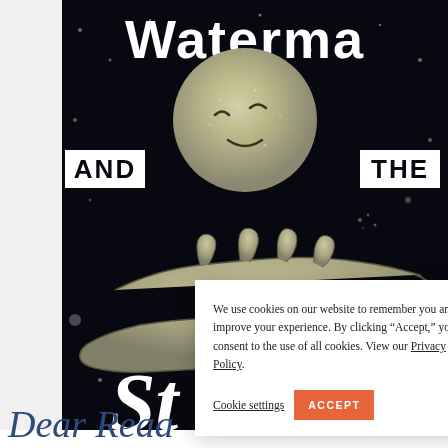[Figure (photo): Book cover photo on black background with glittery moon and hand illustration. Text reads 'Waterma(n) AND THE little St(ars)' in white bold letters. A glittery silver moon face rests on a glittery silver outstretched hand against a dark starry background.]
We use cookies on our website to remember you and improve your experience. By clicking “Accept,” you consent to the use of all cookies. View our Privacy Policy.
Cookie settings
ACCEPT
Dear Reaa